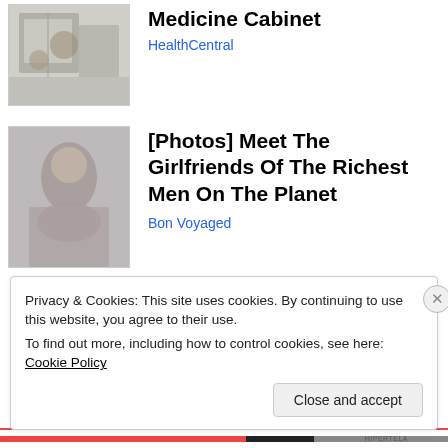[Figure (photo): Thumbnail image for Medicine Cabinet article]
Medicine Cabinet
HealthCentral
[Figure (photo): Thumbnail image for Girlfriends of Richest Men article]
[Photos] Meet The Girlfriends Of The Richest Men On The Planet
Bon Voyaged
December 14, 2018
1 Reply
Privacy & Cookies: This site uses cookies. By continuing to use this website, you agree to their use.
To find out more, including how to control cookies, see here: Cookie Policy
Close and accept